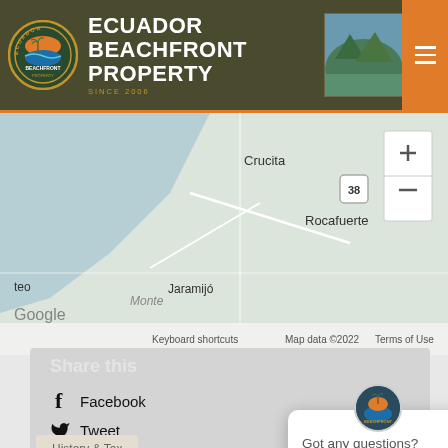ECUADOR BEACHFRONT PROPERTY / SINCE 2006
[Figure (map): Google Maps view showing coastal area near Crucita, Rocafuerte, Jaramijó in Ecuador. Map data ©2022. Zoom controls visible on right.]
Share this
Facebook
Tweet
Got any questions? Interested in a Property? I'm happy to help.
History & Tax
Tax
Tax assessment